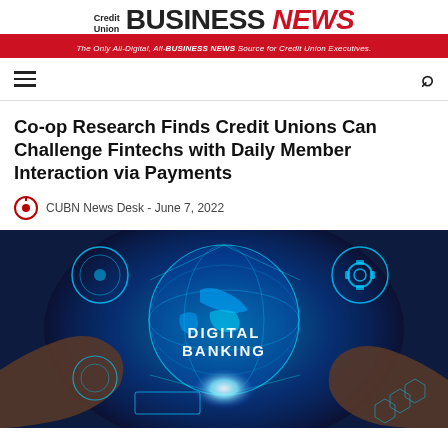Credit Union BUSINESS NEWS — The Only All-Digital, All-BUSINESS NEWS Source for Credit Union Executives.
Co-op Research Finds Credit Unions Can Challenge Fintechs with Daily Member Interaction via Payments
CUBN News Desk - June 7, 2022
[Figure (photo): Digital banking concept image showing hands holding a glowing holographic globe with 'DIGITAL BANKING' text, gears and circuit elements overlaid in blue tones]